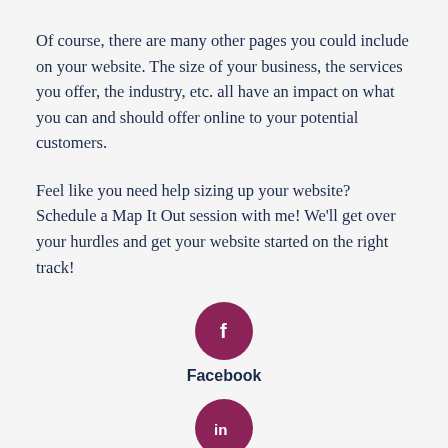Of course, there are many other pages you could include on your website. The size of your business, the services you offer, the industry, etc. all have an impact on what you can and should offer online to your potential customers.
Feel like you need help sizing up your website? Schedule a Map It Out session with me! We'll get over your hurdles and get your website started on the right track!
[Figure (logo): Facebook social media icon — dark purple circle with white lowercase 'f' letter, labeled 'Facebook' below]
[Figure (logo): LinkedIn social media icon — dark purple circle with white 'in' letters, labeled 'LinkedIn' below]